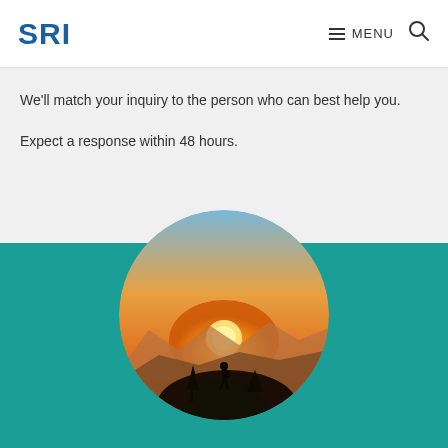SRI | MENU
We’ll match your inquiry to the person who can best help you.
Expect a response within 48 hours.
[Figure (photo): Circular photo of a person standing on a rocky hilltop silhouetted against a golden sunset, with mountains and trees in the background, set against a teal background.]